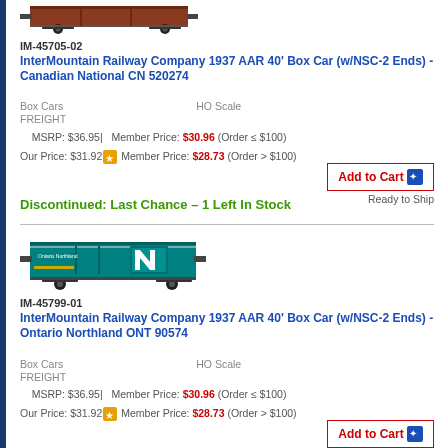[Figure (photo): Model train box car - brown/red colored freight car, Canadian National]
IM-45705-02
InterMountain Railway Company 1937 AAR 40' Box Car (w/NSC-2 Ends) - Canadian National CN 520274
Box Cars    HO Scale
FREIGHT
MSRP: $36.95 | Member Price: $30.96 (Order ≤ $100)
Our Price: $31.92 ★ Member Price: $28.73 (Order > $100)
Add to Cart
Ready to Ship
Discontinued: Last Chance – 1 Left In Stock
[Figure (photo): Model train box car - teal/green colored freight car, Ontario Northland]
IM-45799-01
InterMountain Railway Company 1937 AAR 40' Box Car (w/NSC-2 Ends) - Ontario Northland ONT 90574
Box Cars    HO Scale
FREIGHT
MSRP: $36.95 | Member Price: $30.96 (Order ≤ $100)
Our Price: $31.92 ★ Member Price: $28.73 (Order > $100)
Add to Cart
Ready to Ship
Discontinued: Last Chance – 1 Left In Stock